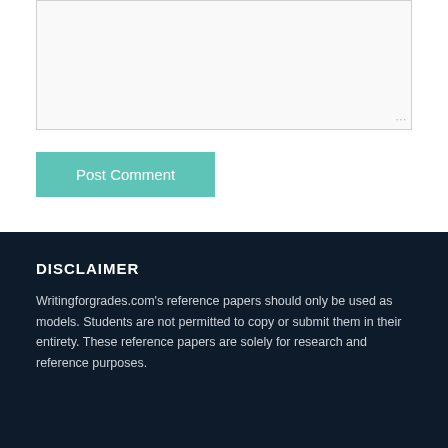[Figure (screenshot): A textarea input box with a light gray background and a resize handle in the bottom-right corner]
Post Comment
DISCLAIMER
Writingforgrades.com's reference papers should only be used as models. Students are not permitted to copy or submit them in their entirety. These reference papers are solely for research and reference purposes.